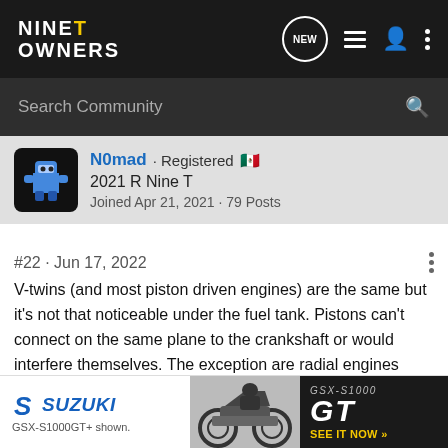NINE T OWNERS — navigation bar with NEW, list, user, and menu icons
Search Community
N0mad · Registered 🇲🇽
2021 R Nine T
Joined Apr 21, 2021 · 79 Posts
#22 · Jun 17, 2022
V-twins (and most piston driven engines) are the same but it's not that noticeable under the fuel tank. Pistons can't connect on the same plane to the crankshaft or would interfere themselves. The exception are radial engines used in old airplanes, where the size and multiple pistons allowed them to connect on a single plane of the shaft, some of them also had different plane pistons arrangements though. The required size for that is not practical for smaller applications such as motorcycle engines, howeve...sults. Check b...
[Figure (illustration): Suzuki GSX-S1000 GT advertisement banner with Suzuki logo on left and GSX-S1000 GT text on dark background with motorcycle image on right, SEE IT NOW call to action]